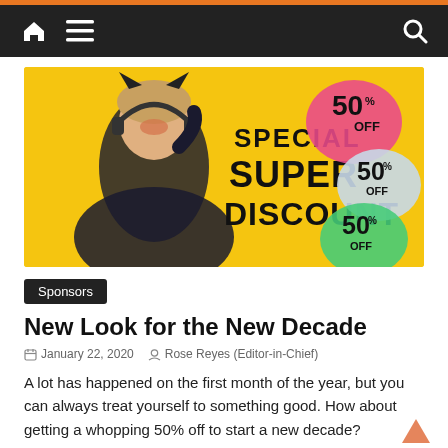Navigation bar with home, menu, and search icons
[Figure (photo): Promotional advertisement image with yellow background showing a woman wearing headphones and a dark polka-dot top, with text 'SPECIAL SUPER DISCOUNT' and multiple '50% OFF' badge graphics in pink, grey, and green.]
Sponsors
New Look for the New Decade
January 22, 2020   Rose Reyes (Editor-in-Chief)
A lot has happened on the first month of the year, but you can always treat yourself to something good. How about getting a whopping 50% off to start a new decade?